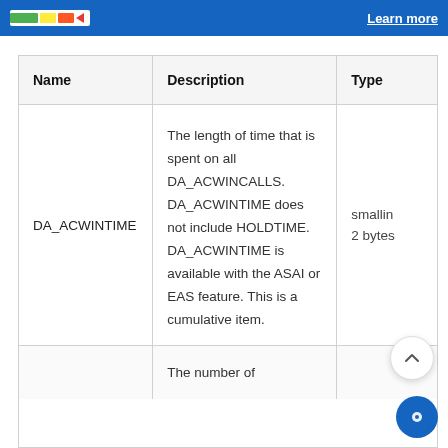[Figure (screenshot): Blue banner with colored progress bar graphic and 'Learn more' link]
| Name | Description | Type |
| --- | --- | --- |
| DA_ACWINTIME | The length of time that is spent on all DA_ACWINCALLS. DA_ACWINTIME does not include HOLDTIME. DA_ACWINTIME is available with the ASAI or EAS feature. This is a cumulative item. | smallin
2 bytes |
|  | The number of |  |